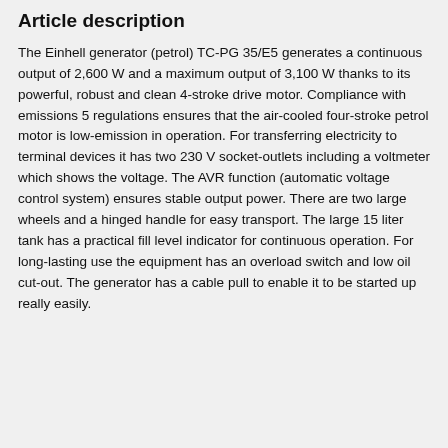Article description
The Einhell generator (petrol) TC-PG 35/E5 generates a continuous output of 2,600 W and a maximum output of 3,100 W thanks to its powerful, robust and clean 4-stroke drive motor. Compliance with emissions 5 regulations ensures that the air-cooled four-stroke petrol motor is low-emission in operation. For transferring electricity to terminal devices it has two 230 V socket-outlets including a voltmeter which shows the voltage. The AVR function (automatic voltage control system) ensures stable output power. There are two large wheels and a hinged handle for easy transport. The large 15 liter tank has a practical fill level indicator for continuous operation. For long-lasting use the equipment has an overload switch and low oil cut-out. The generator has a cable pull to enable it to be started up really easily.